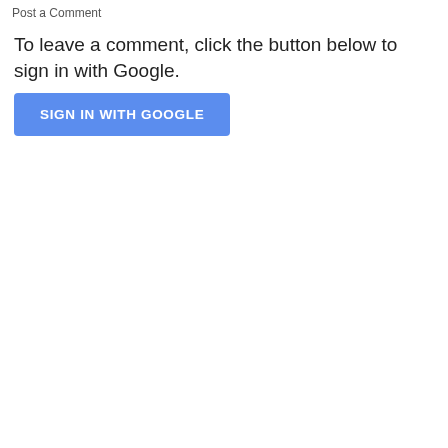Post a Comment
To leave a comment, click the button below to sign in with Google.
[Figure (other): Blue button labeled SIGN IN WITH GOOGLE]